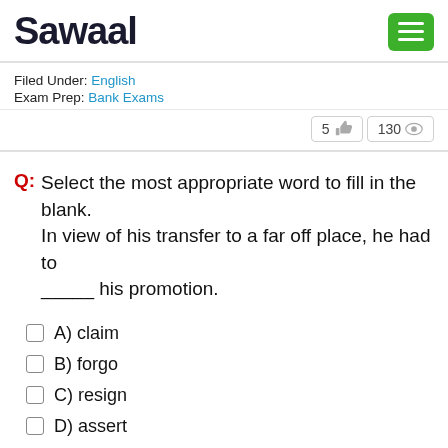Sawaal
Filed Under: English
Exam Prep: Bank Exams
5 👍  130 👁
Q: Select the most appropriate word to fill in the blank.
In view of his transfer to a far off place, he had to _____ his promotion.
A) claim
B) forgo
C) resign
D) assert